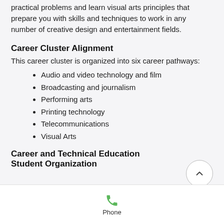practical problems and learn visual arts principles that prepare you with skills and techniques to work in any number of creative design and entertainment fields.
Career Cluster Alignment
This career cluster is organized into six career pathways:
Audio and video technology and film
Broadcasting and journalism
Performing arts
Printing technology
Telecommunications
Visual Arts
Career and Technical Education Student Organization
[Figure (other): Back to top button (circle with upward chevron)]
[Figure (other): Phone icon with label 'Phone' at bottom of screen]